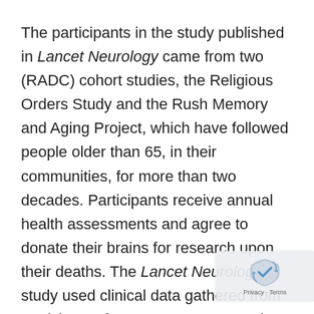The participants in the study published in Lancet Neurology came from two (RADC) cohort studies, the Religious Orders Study and the Rush Memory and Aging Project, which have followed people older than 65, in their communities, for more than two decades. Participants receive annual health assessments and agree to donate their brains for research upon their deaths. The Lancet Neurology study used clinical data gathered from participants from 1994 to 2015, and pathologic data obtained from examination of the brains donated for autopsy, and used regression analyses to determine the odds of Alzheimer's dementia and levels of cognitive function, for